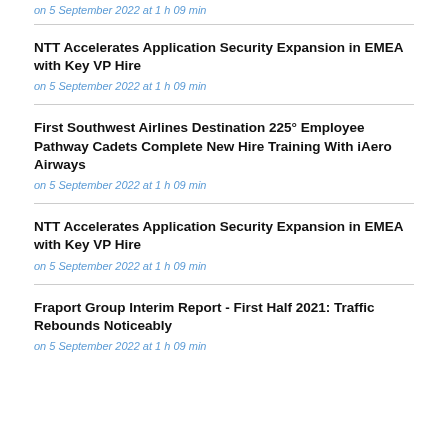on 5 September 2022 at 1 h 09 min
NTT Accelerates Application Security Expansion in EMEA with Key VP Hire
on 5 September 2022 at 1 h 09 min
First Southwest Airlines Destination 225° Employee Pathway Cadets Complete New Hire Training With iAero Airways
on 5 September 2022 at 1 h 09 min
NTT Accelerates Application Security Expansion in EMEA with Key VP Hire
on 5 September 2022 at 1 h 09 min
Fraport Group Interim Report - First Half 2021: Traffic Rebounds Noticeably
on 5 September 2022 at 1 h 09 min